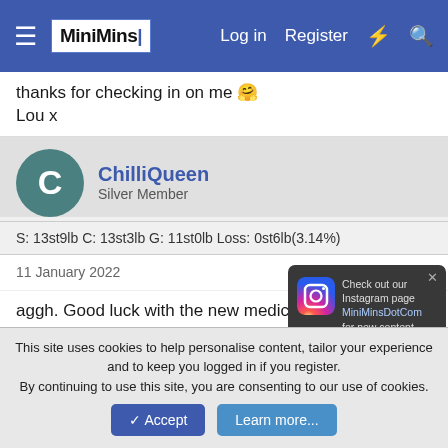MiniMins - Log in - Register
thanks for checking in on me 🤗
Lou x
ChilliQueen
Silver Member
S: 13st9lb C: 13st3lb G: 11st0lb Loss: 0st6lb(3.14%)
11 January 2022  #132
aggh. Good luck with the new medication combo, hope it works out.
GLL
Silver Member
Check out our Instagram page MiniMinsDotCom for new content, recipies, ideas and motivation!
This site uses cookies to help personalise content, tailor your experience and to keep you logged in if you register.
By continuing to use this site, you are consenting to our use of cookies.